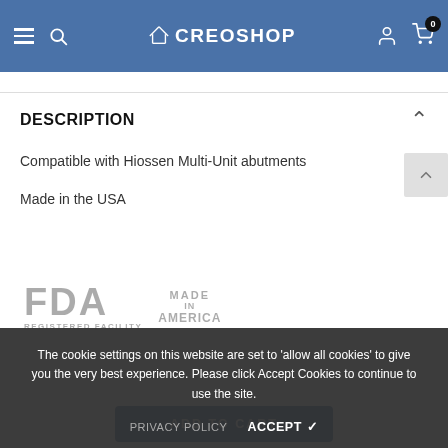CREOSHOP
DESCRIPTION
Compatible with Hiossen Multi-Unit abutments
Made in the USA
[Figure (logo): FDA Registered Facility and Made in America watermark logos]
The cookie settings on this website are set to 'allow all cookies' to give you the very best experience. Please click Accept Cookies to continue to use the site.
PRIVACY POLICY    ACCEPT ✓
ADD TO CART